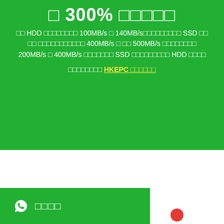□ 300% □□□□□
□□ HDD □□□□□□□□ 100MB/s □ 140MB/s□□□□□□□□□ SSD □□ □□ □□□□□□□□□□□ 400MB/s □ □□ 500MB/s □□□□□□□□ 200MB/s □ 400MB/s □□□□□□□ SSD □□□□□□□□□ HDD □□□□
□□□□□□□□ HKEPC □□□□□□
□□□□ WhatsApp